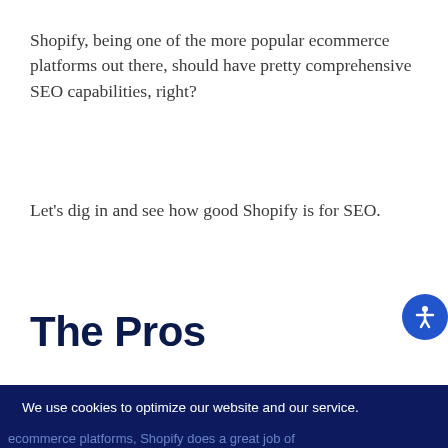Shopify, being one of the more popular ecommerce platforms out there, should have pretty comprehensive SEO capabilities, right?
Let's dig in and see how good Shopify is for SEO.
The Pros
We use cookies to optimize our website and our service. Learn More - Privacy Policy
Accept
ecommerce platforms, Shopify does a great job of